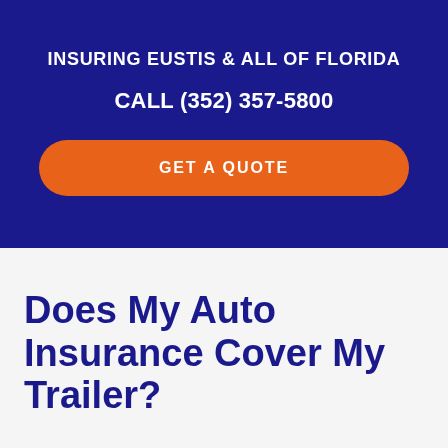INSURING EUSTIS & ALL OF FLORIDA
CALL (352) 357-5800
GET A QUOTE
Does My Auto Insurance Cover My Trailer?